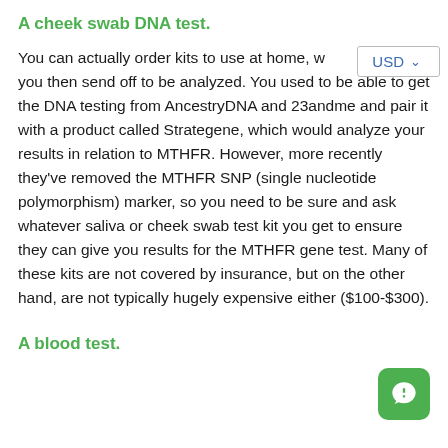A cheek swab DNA test.
You can actually order kits to use at home, w you then send off to be analyzed. You used to be able to get the DNA testing from AncestryDNA and 23andme and pair it with a product called Strategene, which would analyze your results in relation to MTHFR. However, more recently they've removed the MTHFR SNP (single nucleotide polymorphism) marker, so you need to be sure and ask whatever saliva or cheek swab test kit you get to ensure they can give you results for the MTHFR gene test. Many of these kits are not covered by insurance, but on the other hand, are not typically hugely expensive either ($100-$300).
A blood test.